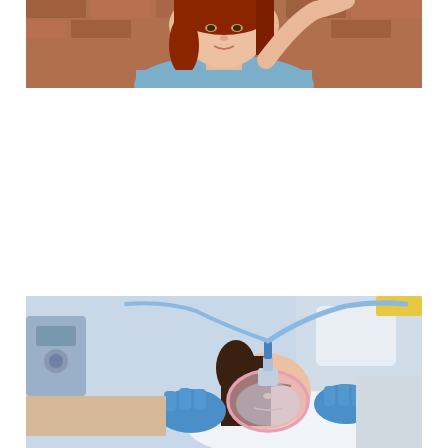[Figure (photo): Close-up portrait of a young woman with long red hair, wearing a blue top, against a brick wall background. She appears to be touching her hair.]
[Figure (photo): Medical professional wearing blue latex gloves applying an oxygen or anesthesia mask over the face of a female patient lying reclined in a dental or medical chair. Medical equipment visible in the background.]